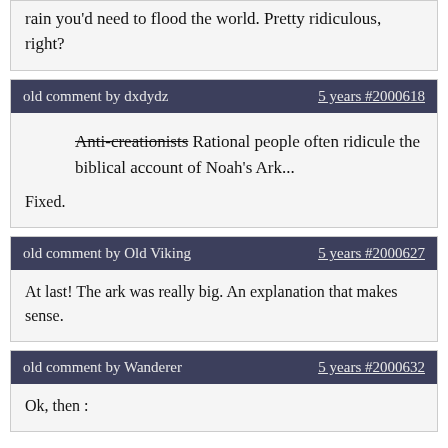rain you'd need to flood the world. Pretty ridiculous, right?
old comment by dxdydz   5 years #2000618
Anti-creationists Rational people often ridicule the biblical account of Noah's Ark...

Fixed.
old comment by Old Viking   5 years #2000627
At last! The ark was really big. An explanation that makes sense.
old comment by Wanderer   5 years #2000632
Ok, then :